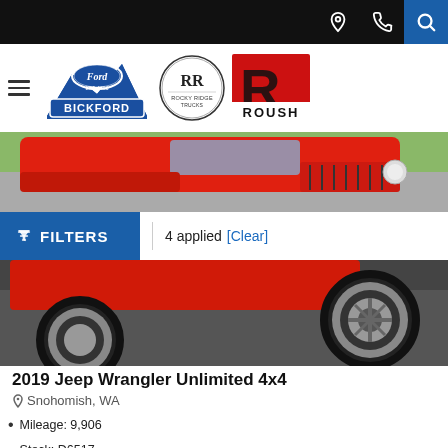Navigation bar with location, phone, and search icons
[Figure (logo): Bickford Ford, Rocky Ridge Trucks, and Roush dealer logos with hamburger menu]
[Figure (photo): Red 2019 Jeep Wrangler Unlimited 4x4 vehicle photo - top portion showing hood and front]
FILTERS | 4 applied [Clear]
[Figure (photo): Red 2019 Jeep Wrangler Unlimited 4x4 vehicle photo - bottom portion showing wheel and lower body]
2019 Jeep Wrangler Unlimited 4x4
Snohomish, WA
Mileage: 9,906
Stock: D6517
Engine: 3.6L V6 CYLINDER
Drivetrain: Four Wheel Drive